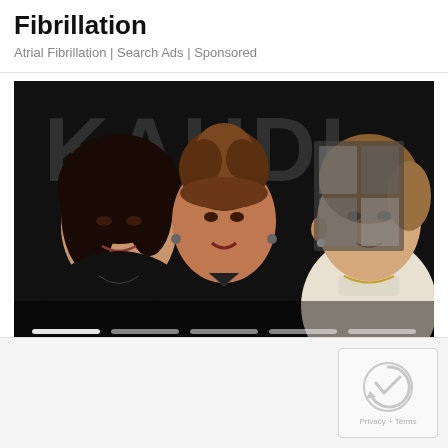Fibrillation
Atrial Fibrillation | Search Ads | Sponsored
[Figure (photo): Three women posing together in front of a backdrop with large letters. The woman on the left has long dark curly hair and wears black. The woman in the center has an updo hairstyle with bangs and wears black with dangly earrings. The woman on the right has her hair pulled back and wears a light-colored top. There is a photo collage visible in the background.]
[Figure (other): reCAPTCHA widget showing the Google reCAPTCHA logo and 'Privacy + Terms' text]